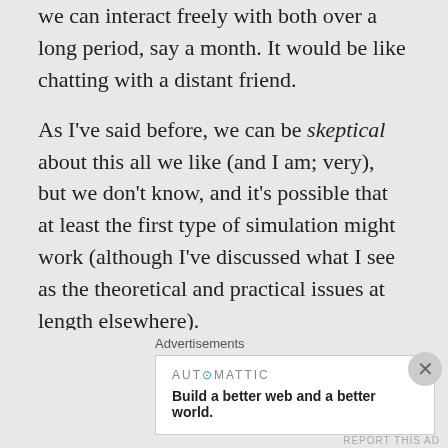we can interact freely with both over a long period, say a month. It would be like chatting with a distant friend.
As I've said before, we can be skeptical about this all we like (and I am; very), but we don't know, and it's possible that at least the first type of simulation might work (although I've discussed what I see as the theoretical and practical issues at length elsewhere).
★ Liked by 3 people
Advertisements
AUTOMATTIC — Build a better web and a better world.